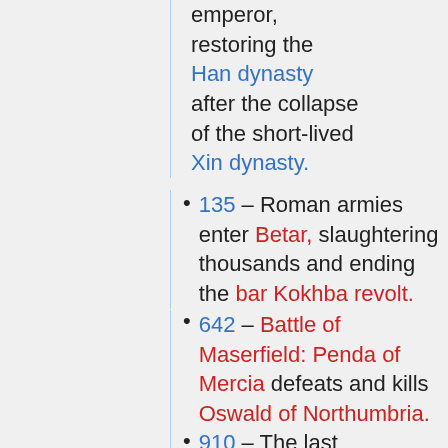emperor, restoring the Han dynasty after the collapse of the short-lived Xin dynasty.
135 – Roman armies enter Betar, slaughtering thousands and ending the bar Kokhba revolt.
642 – Battle of Maserfield: Penda of Mercia defeats and kills Oswald of Northumbria.
910 – The last